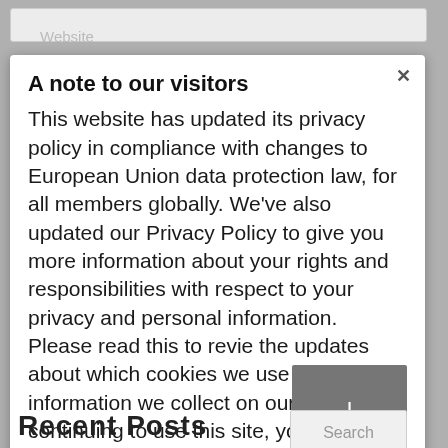A note to our visitors
This website has updated its privacy policy in compliance with changes to European Union data protection law, for all members globally. We’ve also updated our Privacy Policy to give you more information about your rights and responsibilities with respect to your privacy and personal information. Please read this to review the updates about which cookies we use and what information we collect on our site. By continuing to use this site, you are agreeing to our updated privacy policy.